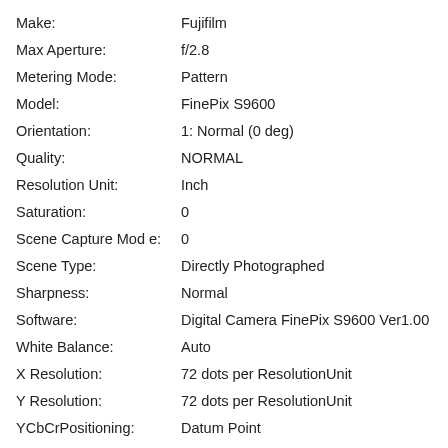| Field | Value |
| --- | --- |
| Make: | Fujifilm |
| Max Aperture: | f/2.8 |
| Metering Mode: | Pattern |
| Model: | FinePix S9600 |
| Orientation: | 1: Normal (0 deg) |
| Quality: | NORMAL |
| Resolution Unit: | Inch |
| Saturation: | 0 |
| Scene Capture Mode: | 0 |
| Scene Type: | Directly Photographed |
| Sharpness: | Normal |
| Software: | Digital Camera FinePix S9600 Ver1.00 |
| White Balance: | Auto |
| X Resolution: | 72 dots per ResolutionUnit |
| Y Resolution: | 72 dots per ResolutionUnit |
| YCbCrPositioning: | Datum Point |
| URL: | https://garfnet.org.uk/coppermine/displayimage.php?pid=30206 |
| Favorites: | Add to Favorites |